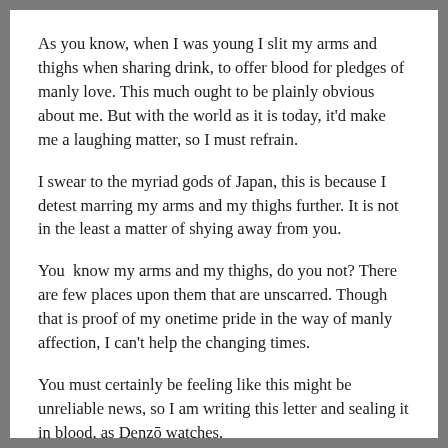As you know, when I was young I slit my arms and thighs when sharing drink, to offer blood for pledges of manly love. This much ought to be plainly obvious about me. But with the world as it is today, it'd make me a laughing matter, so I must refrain.
I swear to the myriad gods of Japan, this is because I detest marring my arms and my thighs further. It is not in the least a matter of shying away from you.
You  know my arms and my thighs, do you not? There are few places upon them that are unscarred. Though that is proof of my onetime pride in the way of manly affection, I can't help the changing times.
You must certainly be feeling like this might be unreliable news, so I am writing this letter and sealing it in blood, as Denzō watches.